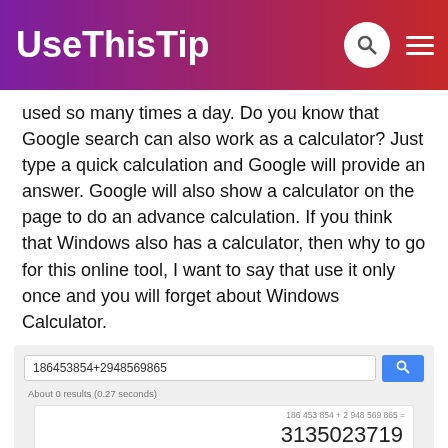UseThisTip
used so many times a day. Do you know that Google search can also work as a calculator? Just type a quick calculation and Google will provide an answer. Google will also show a calculator on the page to do an advance calculation. If you think that Windows also has a calculator, then why to go for this online tool, I want to say that use it only once and you will forget about Windows Calculator.
[Figure (screenshot): Google search bar with input '186453854+2948569865' and a blue search button, showing result '3135023719' in a calculator widget with buttons Rad, x!, (, ), %, AC, Inv, sin, ln, 7, 8, 9, +, π, cos, log, 4, 5, 6, x]